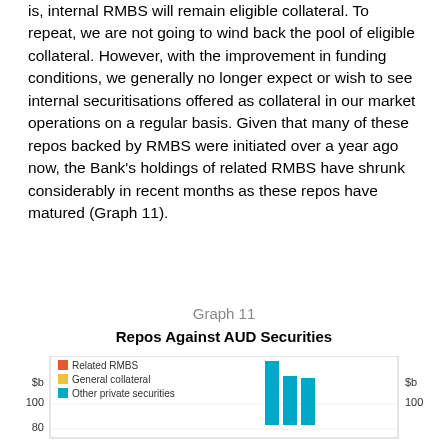is, internal RMBS will remain eligible collateral. To repeat, we are not going to wind back the pool of eligible collateral. However, with the improvement in funding conditions, we generally no longer expect or wish to see internal securitisations offered as collateral in our market operations on a regular basis. Given that many of these repos backed by RMBS were initiated over a year ago now, the Bank’s holdings of related RMBS have shrunk considerably in recent months as these repos have matured (Graph 11).
Graph 11
Repos Against AUD Securities
[Figure (bar-chart): Stacked bar chart showing repos against AUD securities broken into Related RMBS, General collateral, and Other private securities. Y-axis shows values at 80 and 100 $b. Bars visible around the 100+ $b level.]